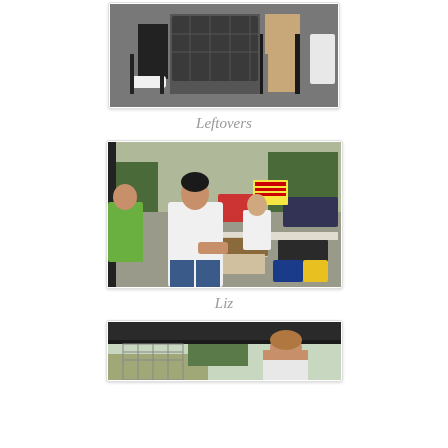[Figure (photo): Photo of two people seated outdoors, only lower bodies visible, one wearing sneakers]
Leftovers
[Figure (photo): Woman named Liz serving food at an outdoor BBQ event, with tables of food and other people in background]
Liz
[Figure (photo): Partial view of people under a dark canopy tent at an outdoor event]